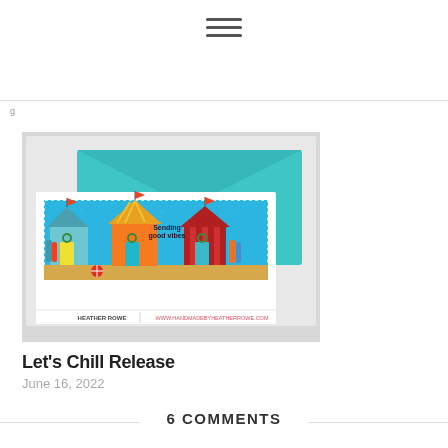[Figure (other): Three horizontal lines forming a hamburger/menu icon]
[Figure (photo): A handmade greeting card featuring colorful beach huts with the text 'Sending good vibes', displayed on a light teal background with a teal envelope behind it. Watermark reads: HEATHER ROWE | WWW.HANDMADEBYHEATHERROWE.COM]
Let's Chill Release
June 16, 2022
6 COMMENTS